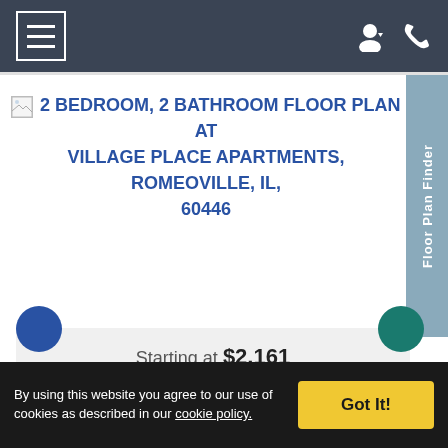Navigation bar with hamburger menu, user icon, and phone icon
2 BEDROOM, 2 BATHROOM FLOOR PLAN AT VILLAGE PLACE APARTMENTS, ROMEOVILLE, IL, 60446
Floor Plan Finder
Starting at $2,161
By using this website you agree to our use of cookies as described in our cookie policy.
Got It!